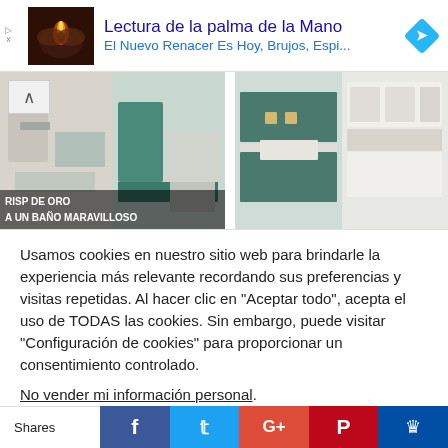[Figure (screenshot): Advertisement banner: image of hands with flame on left, text 'Lectura de la palma de la Mano' and 'El Nuevo Renacer Es Hoy, Brujos, Espi...' in blue, diamond arrow icon on right. Ad marker (triangle/x) on left.]
[Figure (photo): Two collages of interior design photos: left side shows bathroom with black/white/teal decor and text overlay 'RISP DE ORO A UN BAÑO MARAVILLOSO'; right side shows kitchen with teal and white cabinets.]
Usamos cookies en nuestro sitio web para brindarle la experiencia más relevante recordando sus preferencias y visitas repetidas. Al hacer clic en "Aceptar todo", acepta el uso de TODAS las cookies. Sin embargo, puede visitar "Configuración de cookies" para proporcionar un consentimiento controlado.
No vender mi información personal.
[Figure (screenshot): Cookie consent buttons row: grey 'Configuración de cookies' button and green 'Aceptar' button]
Shares  [Facebook] [Twitter] [G+] [Pinterest] [crown icon]